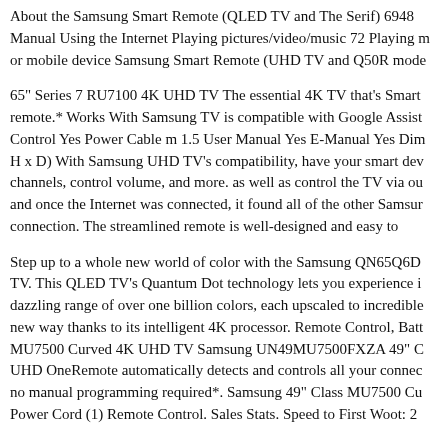About the Samsung Smart Remote (QLED TV and The Serif) 6948 Manual Using the Internet Playing pictures/video/music 72 Playing m or mobile device Samsung Smart Remote (UHD TV and Q50R mode
65" Series 7 RU7100 4K UHD TV The essential 4K TV that's Smart remote.* Works With Samsung TV is compatible with Google Assist Control Yes Power Cable m 1.5 User Manual Yes E-Manual Yes Dim H x D) With Samsung UHD TV's compatibility, have your smart dev channels, control volume, and more. as well as control the TV via ou and once the Internet was connected, it found all of the other Samsur connection. The streamlined remote is well-designed and easy to
Step up to a whole new world of color with the Samsung QN65Q6D TV. This QLED TV's Quantum Dot technology lets you experience i dazzling range of over one billion colors, each upscaled to incredible new way thanks to its intelligent 4K processor. Remote Control, Batt MU7500 Curved 4K UHD TV Samsung UN49MU7500FXZA 49" C UHD OneRemote automatically detects and controls all your connec no manual programming required*. Samsung 49" Class MU7500 Cu Power Cord (1) Remote Control. Sales Stats. Speed to First Woot: 2